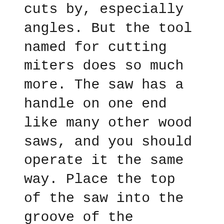cuts by, especially angles. But the tool named for cutting miters does so much more. The saw has a handle on one end like many other wood saws, and you should operate it the same way. Place the top of the saw into the groove of the correct angle and lightly let it glide over the surface. The secret to a good, even cut is to keep moving the saw with the same amount of pressure.
1 1 OperatorвЂ™s Manual 7-1/4 in. SLIDING COMPOUND MITER SAW WITH LASER TRACB® Model No. 137.211940 CAUTION: Before using this Miter Saw, read this manual and follow What size board a 10-inch miter saw can cut? When a 12-inch miter saw is more